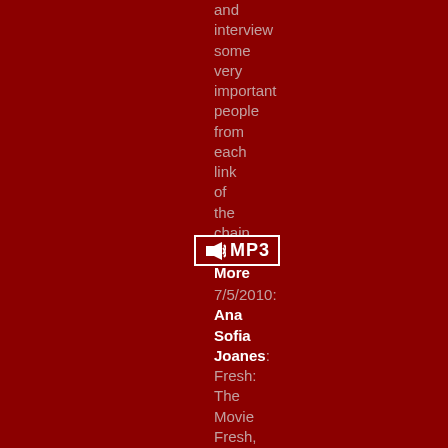and interview some very important people from each link of the chain t....>> More
[Figure (other): MP3 audio badge icon with speaker symbol]
7/5/2010: Ana Sofia Joanes: Fresh: The Movie Fresh, celebrates the farmers, thinkers, and business